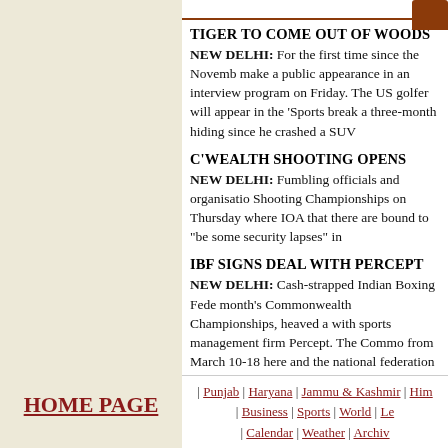TIGER TO COME OUT OF WOODS
NEW DELHI: For the first time since the November make a public appearance in an interview program on Friday. The US golfer will appear in the 'Sports break a three-month hiding since he crashed a SUV
C'WEALTH SHOOTING OPENS
NEW DELHI: Fumbling officials and organisation Shooting Championships on Thursday where IOA that there are bound to "be some security lapses" in
IBF SIGNS DEAL WITH PERCEPT
NEW DELHI: Cash-strapped Indian Boxing Fede month's Commonwealth Championships, heaved a with sports management firm Percept. The Commo from March 10-18 here and the national federation Percept, IBF is hoping things will heading towards
HOME PAGE | Punjab | Haryana | Jammu & Kashmir | Him | Business | Sports | World | Le | Calendar | Weather | Archiv